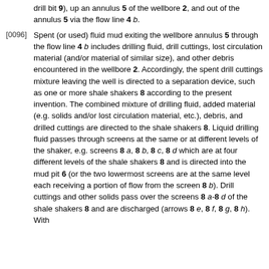drill bit 9), up an annulus 5 of the wellbore 2, and out of the annulus 5 via the flow line 4 b.
[0096] Spent (or used) fluid mud exiting the wellbore annulus 5 through the flow line 4 b includes drilling fluid, drill cuttings, lost circulation material (and/or material of similar size), and other debris encountered in the wellbore 2. Accordingly, the spent drill cuttings mixture leaving the well is directed to a separation device, such as one or more shale shakers 8 according to the present invention. The combined mixture of drilling fluid, added material (e.g. solids and/or lost circulation material, etc.), debris, and drilled cuttings are directed to the shale shakers 8. Liquid drilling fluid passes through screens at the same or at different levels of the shaker, e.g. screens 8 a, 8 b, 8 c, 8 d which are at four different levels of the shale shakers 8 and is directed into the mud pit 6 (or the two lowermost screens are at the same level each receiving a portion of flow from the screen 8 b). Drill cuttings and other solids pass over the screens 8 a-8 d of the shale shakers 8 and are discharged (arrows 8 e, 8 f, 8 g, 8 h). With